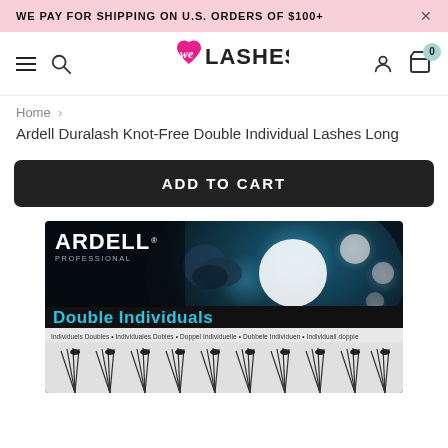WE PAY FOR SHIPPING ON U.S. ORDERS OF $100+
[Figure (logo): We Lashes logo with pink heart and stylized 'we' text]
Home > Ardell Duralash Knot-Free Double Individual Lashes Long
ADD TO CART
[Figure (photo): Ardell Professional Double Individuals lash product packaging — dark background with teal bokeh circles, showing eyelash clusters at bottom]